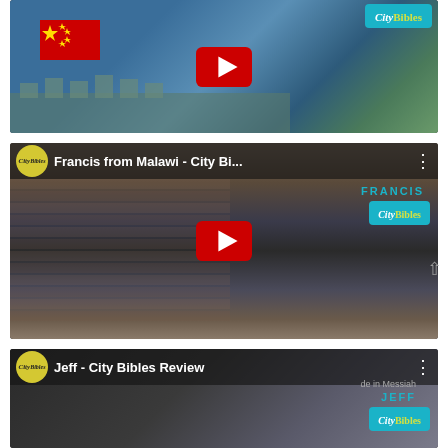[Figure (screenshot): YouTube video thumbnail showing Great Wall of China with red flag, CityBibles logo in top right, YouTube play button in center. Partially cropped at top.]
[Figure (screenshot): YouTube video thumbnail for 'Francis from Malawi - City Bi...' showing a man in striped shirt sitting in front of brick wall. CityBibles channel logo on left, FRANCIS label and CityBibles badge on right, three-dot menu icon, YouTube play button in center.]
[Figure (screenshot): YouTube video thumbnail for 'Jeff - City Bibles Review' showing a man. CityBibles channel logo on left, JEFF label and CityBibles badge on right, three-dot menu icon. Partially cropped at bottom.]